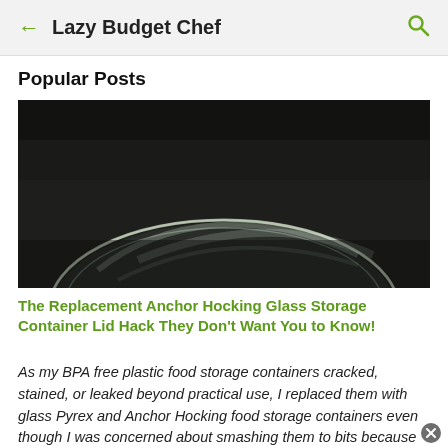← Lazy Budget Chef 🔍
Popular Posts
[Figure (photo): Close-up photo of a clear glass bowl or lid on a dark background, showing the rim and reflections]
The Replacement Anchor Hocking Glass Storage Container Lid Hack They Don't Want You to Know!
As my BPA free plastic food storage containers cracked, stained, or leaked beyond practical use, I replaced them with glass Pyrex and Anchor Hocking food storage containers even though I was concerned about smashing them to bits because dropping thin...